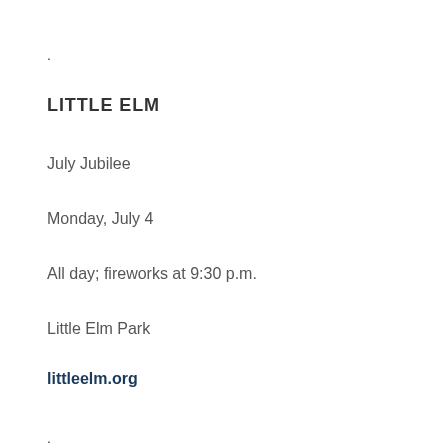.
LITTLE ELM
July Jubilee
Monday, July 4
All day; fireworks at 9:30 p.m.
Little Elm Park
littleelm.org
.